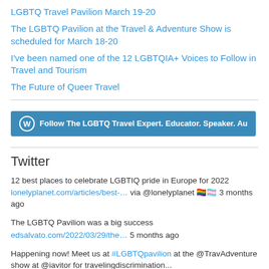LGBTQ Travel Pavilion March 19-20
The LGBTQ Pavilion at the Travel & Adventure Show is scheduled for March 18-20
I've been named one of the 12 LGBTQIA+ Voices to Follow in Travel and Tourism
The Future of Queer Travel
[Figure (other): WordPress Follow button: Follow The LGBTQ Travel Expert. Educator. Speaker. Au]
Twitter
12 best places to celebrate LGBTIQ pride in Europe for 2022
lonelyplanet.com/articles/best-… via @lonelyplanet 🏳️‍🌈🏳️‍⚧️ 3 months ago
The LGBTQ Pavilion was a big success
edsalvato.com/2022/03/29/the… 5 months ago
Happening now! Meet us at #LGBTQpavilion at the @TravAdventure show at @iavitor for travelingdiscrimination...